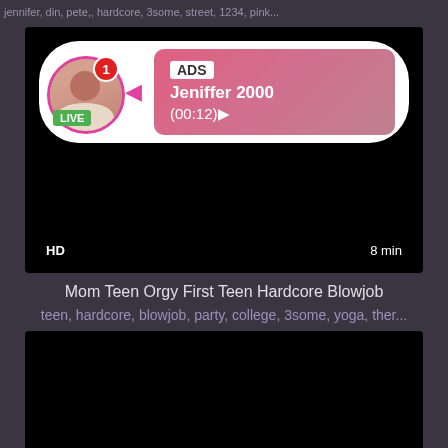jennifer, din, pete,, hardcore, 3some, street, 1234, pink...
[Figure (screenshot): Video thumbnail with ad overlay showing LIVE user 'Jeniffer 2000' with (00:12) duration, HD badge, 8 min duration]
Mom Teen Orgy First Teen Hardcore Blowjob
teen, hardcore, blowjob, party, college, 3some, yoga, ther...
[Figure (screenshot): Dark video thumbnail, second video]